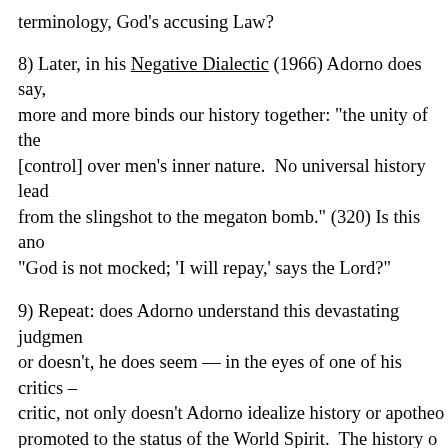terminology, God's accusing Law?
8) Later, in his Negative Dialectic (1966) Adorno does say, more and more binds our history together: "the unity of the [control] over men's inner nature. No universal history leads from the slingshot to the megaton bomb." (320) Is this ano "God is not mocked; 'I will repay,' says the Lord?"
9) Repeat: does Adorno understand this devastating judgmen or doesn't, he does seem — in the eyes of one of his critics – critic, not only doesn't Adorno idealize history or apotheo promoted to the status of the World Spirit. The history o Connerton, The Tragedy of Enlightenment: an Essay on the F
10) How to escape this "history of damnation?" Might we es in it, agreeing with it? If you can't lick it, join it? Yes, morall the negation. As Adorno makes plain, "Whoever pleads for becomes its accomplice." (Neg. Dial. 367)